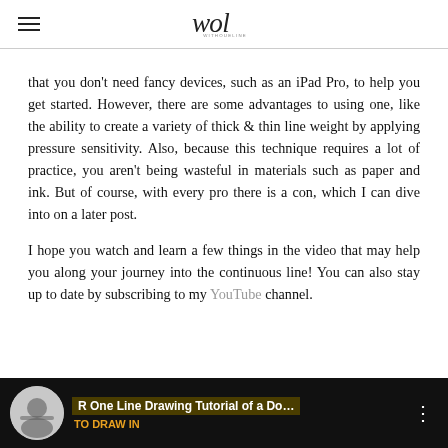wol
that you don't need fancy devices, such as an iPad Pro, to help you get started. However, there are some advantages to using one, like the ability to create a variety of thick & thin line weight by applying pressure sensitivity. Also, because this technique requires a lot of practice, you aren't being wasteful in materials such as paper and ink. But of course, with every pro there is a con, which I can dive into on a later post.
I hope you watch and learn a few things in the video that may help you along your journey into the continuous line! You can also stay up to date by subscribing to my YouTube channel.
[Figure (screenshot): Video thumbnail showing a one line drawing tutorial of a dog, with a circular avatar on the left and title text on a dark background.]